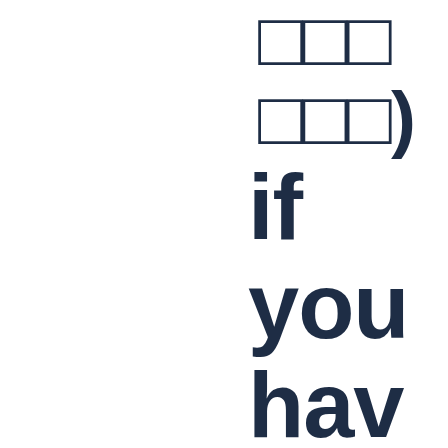□□□ □□□) if you have it und or